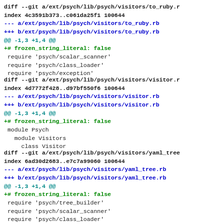diff --git a/ext/psych/lib/psych/visitors/to_ruby.r
index 4c3591b373..c061da25f1 100644
--- a/ext/psych/lib/psych/visitors/to_ruby.rb
+++ b/ext/psych/lib/psych/visitors/to_ruby.rb
@@ -1,3 +1,4 @@
+# frozen_string_literal: false
 require 'psych/scalar_scanner'
 require 'psych/class_loader'
 require 'psych/exception'
diff --git a/ext/psych/lib/psych/visitors/visitor.r
index 4d7772f428..d97bf550f6 100644
--- a/ext/psych/lib/psych/visitors/visitor.rb
+++ b/ext/psych/lib/psych/visitors/visitor.rb
@@ -1,3 +1,4 @@
+# frozen_string_literal: false
 module Psych
   module Visitors
     class Visitor
diff --git a/ext/psych/lib/psych/visitors/yaml_tree
index 6ad30d2683..e7c7a99060 100644
--- a/ext/psych/lib/psych/visitors/yaml_tree.rb
+++ b/ext/psych/lib/psych/visitors/yaml_tree.rb
@@ -1,3 +1,4 @@
+# frozen_string_literal: false
 require 'psych/tree_builder'
 require 'psych/scalar_scanner'
 require 'psych/class_loader'